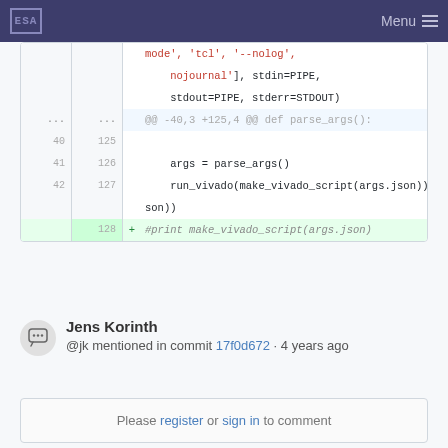ESA Menu
[Figure (screenshot): Code diff showing Python code lines with line numbers. Red text: mode', 'tcl', '--nolog', nojournal'], stdin=PIPE. Black text: stdout=PIPE, stderr=STDOUT). Hunk header: @@ -40,3 +125,4 @@ def parse_args():. Lines 40/125 blank, 41/126: args = parse_args(), 42/127: run_vivado(make_vivado_script(args.json)). Added line 128: + #print make_vivado_script(args.json)]
Jens Korinth
@jk mentioned in commit 17f0d672 · 4 years ago
Please register or sign in to comment